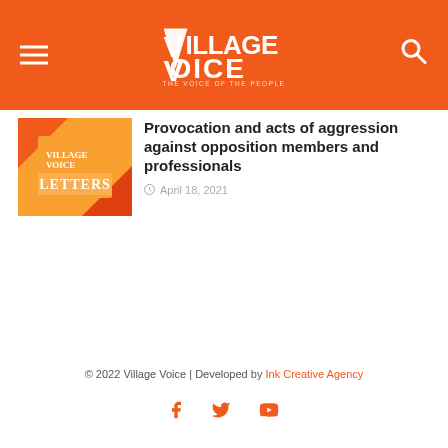Village Voice — The Voice of the People
[Figure (logo): Village Voice logo with orange header bar, hamburger menu icon on left, search icon on right]
[Figure (photo): Letters thumbnail image with Village Voice logo and 'LETTERS' text on orange/gold diamond background]
Provocation and acts of aggression against opposition members and professionals
April 18, 2021
© 2022 Village Voice | Developed by Ink Creative Agency